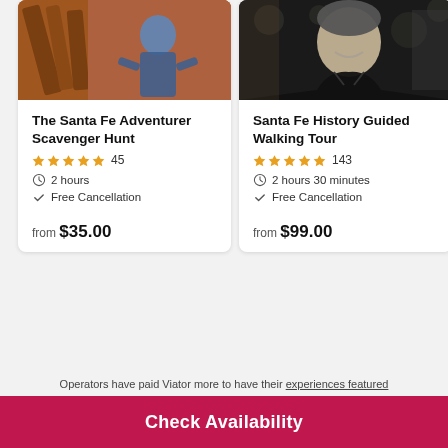[Figure (photo): Photo of The Santa Fe Adventurer Scavenger Hunt — person near adobe wall]
The Santa Fe Adventurer Scavenger Hunt
★★★★★ 45
⏱ 2 hours
✓ Free Cancellation
from $35.00
[Figure (photo): Photo of Santa Fe History Guided Walking Tour guide smiling]
Santa Fe History Guided Walking Tour
★★★★★ 143
⏱ 2 hours 30 minutes
✓ Free Cancellation
from $99.00
Operators have paid Viator more to have their experiences featured
Check Availability